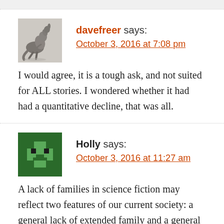[Figure (photo): Avatar image of a kangaroo on a light background]
davefreer says:
October 3, 2016 at 7:08 pm
I would agree, it is a tough ask, and not suited for ALL stories. I wondered whether it had had a quantitative decline, that was all.
[Figure (illustration): Green pixel/blocky avatar icon for Holly]
Holly says:
October 3, 2016 at 11:27 am
A lack of families in science fiction may reflect two features of our current society: a general lack of extended family and a general infantilization of children. Is leaving a six year